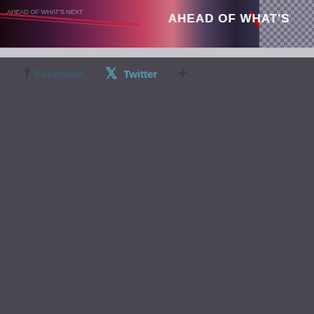[Figure (photo): Dark banner image with colorful bokeh lights on the left side, a Verizon-style checkmark logo in the center, text 'AHEAD OF WHAT'S' in white bold letters on the right, and a checkered sphere/ball on the far right]
f Facebook
Twitter
+